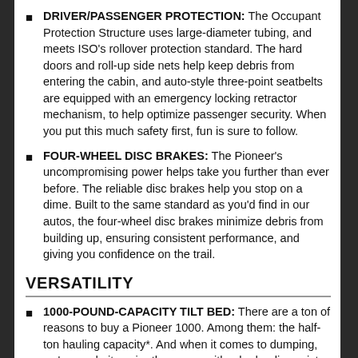DRIVER/PASSENGER PROTECTION: The Occupant Protection Structure uses large-diameter tubing, and meets ISO's rollover protection standard. The hard doors and roll-up side nets help keep debris from entering the cabin, and auto-style three-point seatbelts are equipped with an emergency locking retractor mechanism, to help optimize passenger security. When you put this much safety first, fun is sure to follow.
FOUR-WHEEL DISC BRAKES: The Pioneer's uncompromising power helps take you further than ever before. The reliable disc brakes help you stop on a dime. Built to the same standard as you'd find in our autos, the four-wheel disc brakes minimize debris from building up, ensuring consistent performance, and giving you confidence on the trail.
VERSATILITY
1000-POUND-CAPACITY TILT BED: There are a ton of reasons to buy a Pioneer 1000. Among them: the half-ton hauling capacity*. And when it comes to dumping, we've made it easier than ever, with a hydraulic assist tilt bed lever